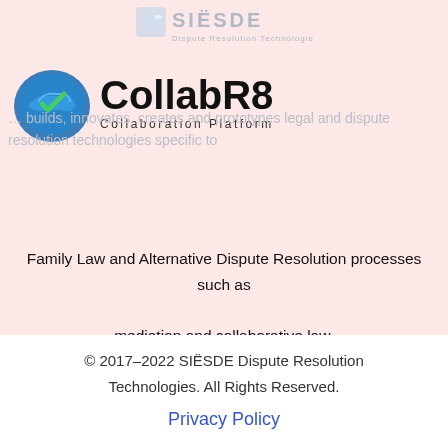[Figure (logo): SIESDE Dispute Resolution Technologies logo with puzzle piece icon and company name]
[Figure (logo): CollabR8 Collaboration Platform logo with handshake icon]
... builds, innovates, creates and prototypes legal and dispute resolution technologies specific to Family Law and Alternative Dispute Resolution processes such as mediation and collaborative law.
© 2017–2022 SIËSDE Dispute Resolution Technologies. All Rights Reserved.
Privacy Policy